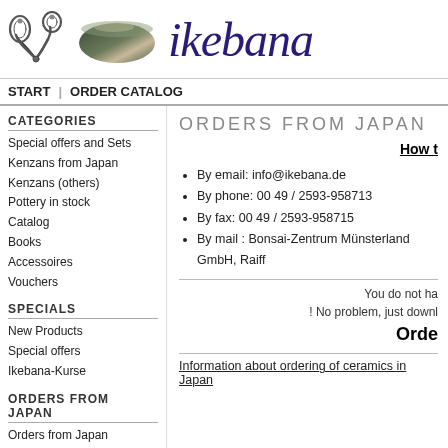[Figure (illustration): Header with scissors icon, dark oval bowl/kenzan, and stylized 'ikebana' logo in dark purple italic script]
START | ORDER CATALOG
CATEGORIES
Special offers and Sets
Kenzans from Japan
Kenzans (others)
Pottery in stock
Catalog
Books
Accessoires
Vouchers
SPECIALS
New Products
Special offers
Ikebana-Kurse
ORDERS FROM JAPAN
Orders from Japan
ORDERS FROM JAPAN
How t
By email: info@ikebana.de
By phone: 00 49 / 2593-958713
By fax: 00 49 / 2593-958715
By mail : Bonsai-Zentrum Münsterland GmbH, Raiff
You do not ha
! No problem, just downl
Orde
Information about ordering of ceramics in Japan